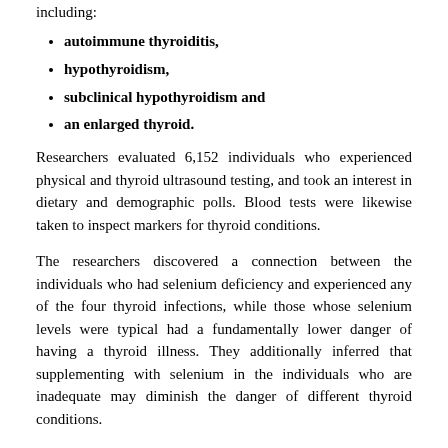including:
autoimmune thyroiditis,
hypothyroidism,
subclinical hypothyroidism and
an enlarged thyroid.
Researchers evaluated 6,152 individuals who experienced physical and thyroid ultrasound testing, and took an interest in dietary and demographic polls. Blood tests were likewise taken to inspect markers for thyroid conditions.
The researchers discovered a connection between the individuals who had selenium deficiency and experienced any of the four thyroid infections, while those whose selenium levels were typical had a fundamentally lower danger of having a thyroid illness. They additionally inferred that supplementing with selenium in the individuals who are inadequate may diminish the danger of different thyroid conditions.